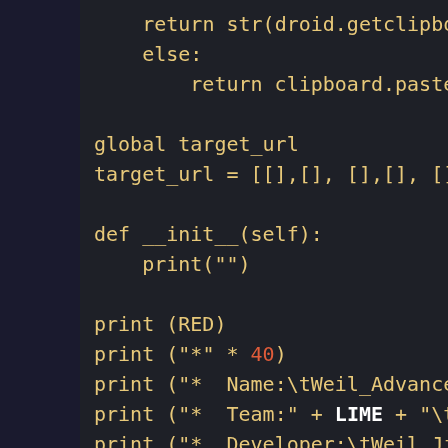[Figure (screenshot): Screenshot of a Python code editor with dark background showing code snippet with syntax highlighting. Code includes return statements, global variable assignment, __init__ method, and print statements with colored keywords.]